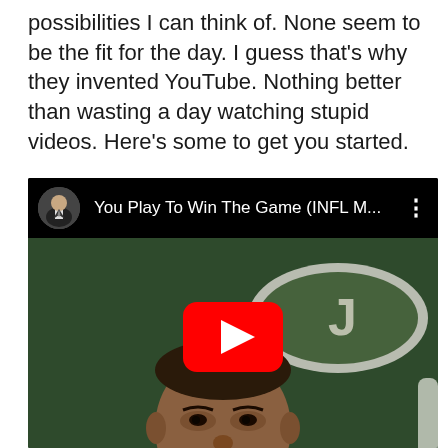possibilities I can think of. None seem to be the fit for the day. I guess that's why they invented YouTube. Nothing better than wasting a day watching stupid videos. Here's some to get you started.
[Figure (screenshot): Embedded YouTube video thumbnail showing 'You Play To Win The Game (INFL M...' with a channel thumbnail, video title, three-dot menu, and a YouTube play button overlay on a press conference scene with a man in a white shirt against a green/dark background with a NY Jets logo.]